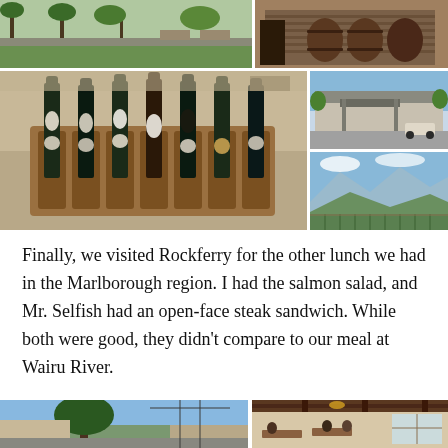[Figure (photo): Collage of winery photos: top row shows outdoor seating area (left) and wooden building exterior (right); middle shows large wine bottle display on a wooden rack (left), winery building exterior (top right), and vineyard landscape view (bottom right)]
Finally, we visited Rockferry for the other lunch we had in the Marlborough region. I had the salmon salad, and Mr. Selfish had an open-face steak sandwich. While both were good, they didn't compare to our meal at Wairu River.
[Figure (photo): Bottom collage: left shows outdoor area with trees, right shows interior dining room with wooden beams and people seated at tables]